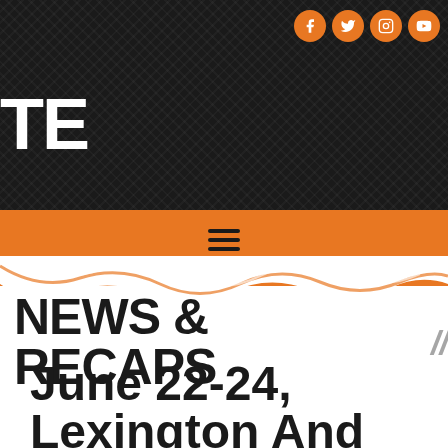[Figure (screenshot): Dark carbon-fiber textured website header background with orange social media icons (Facebook, Twitter, Instagram, YouTube) in the top right, partial white bold logo text 'TE' on the left, an orange navigation bar with hamburger menu icon, and an orange paint splash wave divider transitioning to white background.]
NEWS & RECAPS
June 22-24, Lexington And Knoxville, TN